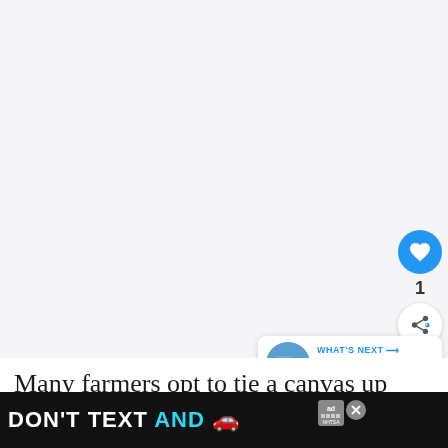[Figure (screenshot): Large blank/white content area at top of article page, representing an image or video placeholder]
[Figure (infographic): Blue circular like/heart button, count of 1, and share button on right sidebar]
[Figure (infographic): WHAT'S NEXT panel with tractor thumbnail image and text 'Can Tractors Get Wet? 8...']
Many farmers opt to tie a canvas up between trees and then use the interior canvas with it...
[Figure (infographic): Advertisement banner: DON'T TEXT AND [car emoji] with NHTSA logo and ad badge]